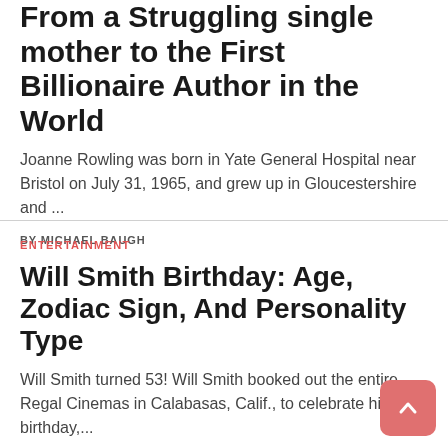From a Struggling single mother to the First Billionaire Author in the World
Joanne Rowling was born in Yate General Hospital near Bristol on July 31, 1965, and grew up in Gloucestershire and ...
BY MICHAEL BAUGH
ENTERTAINMENT
Will Smith Birthday: Age, Zodiac Sign, And Personality Type
Will Smith turned 53! Will Smith booked out the entire Regal Cinemas in Calabasas, Calif., to celebrate his 53rd birthday,...